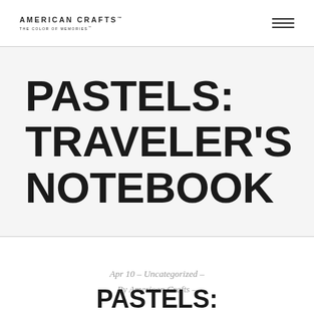AMERICAN CRAFTS™ THE COLOR OF MEMORIES™
PASTELS: TRAVELER'S NOTEBOOK
Apr 10 – Uncategorized – By American Crafts –
PASTELS: